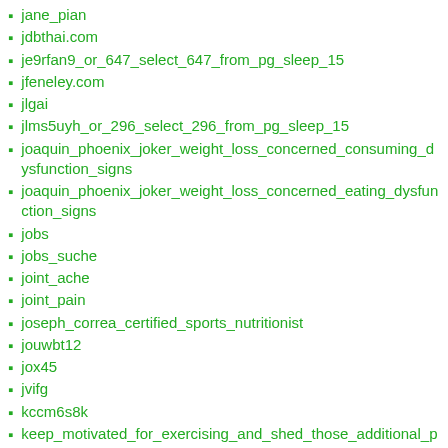jane_pian
jdbthai.com
je9rfan9_or_647_select_647_from_pg_sleep_15
jfeneley.com
jlgai
jlms5uyh_or_296_select_296_from_pg_sleep_15
joaquin_phoenix_joker_weight_loss_concerned_consuming_dysfunction_signs
joaquin_phoenix_joker_weight_loss_concerned_eating_dysfunction_signs
jobs
jobs_suche
joint_ache
joint_pain
joseph_correa_certified_sports_nutritionist
jouwbt12
jox45
jvifg
kccm6s8k
keep_motivated_for_exercising_and_shed_those_additional_pounds